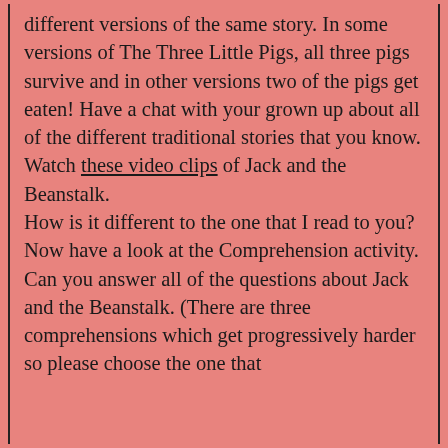different versions of the same story. In some versions of The Three Little Pigs, all three pigs survive and in other versions two of the pigs get eaten! Have a chat with your grown up about all of the different traditional stories that you know. Watch these video clips of Jack and the Beanstalk. How is it different to the one that I read to you? Now have a look at the Comprehension activity. Can you answer all of the questions about Jack and the Beanstalk. (There are three comprehensions which get progressively harder so please choose the one that